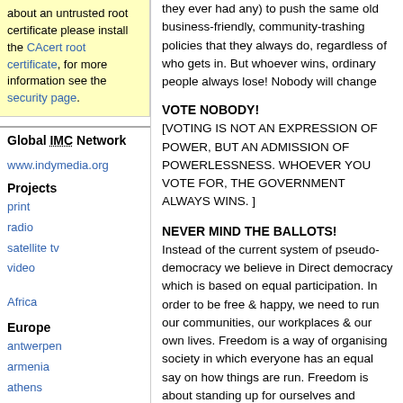about an untrusted root certificate please install the CAcert root certificate, for more information see the security page.
Global IMC Network
www.indymedia.org
Projects
print
radio
satellite tv
video
Africa
Europe
antwerpen
armenia
athens
austria
barcelona
they ever had any) to push the same old business-friendly, community-trashing policies that they always do, regardless of who gets in. But whoever wins, ordinary people always lose! Nobody will change that, so vote for Nobody next Federal Election.
VOTE NOBODY!
[VOTING IS NOT AN EXPRESSION OF POWER, BUT AN ADMISSION OF POWERLESSNESS. WHOEVER YOU VOTE FOR, THE GOVERNMENT ALWAYS WINS. ]
NEVER MIND THE BALLOTS!
Instead of the current system of pseudo-democracy we believe in Direct democracy which is based on equal participation. In order to be free & happy, we need to run our communities, our workplaces & our own lives. Freedom is a way of organising society in which everyone has an equal say on how things are run. Freedom is about standing up for ourselves and resisting unfairness; it